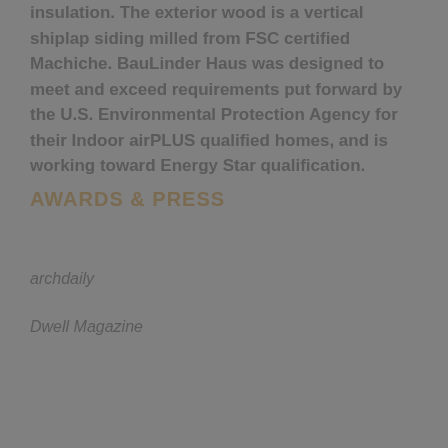insulation. The exterior wood is a vertical shiplap siding milled from FSC certified Machiche. BauLinder Haus was designed to meet and exceed requirements put forward by the U.S. Environmental Protection Agency for their Indoor airPLUS qualified homes, and is working toward Energy Star qualification.
AWARDS & PRESS
archdaily
Dwell Magazine